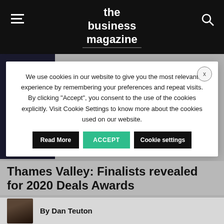the business magazine
[Figure (screenshot): Cookie consent modal dialog over article page. Modal contains cookie consent text and three buttons: Read More, ACCEPT, Cookie settings.]
Thames Valley: Finalists revealed for 2020 Deals Awards
By Dan Teuton